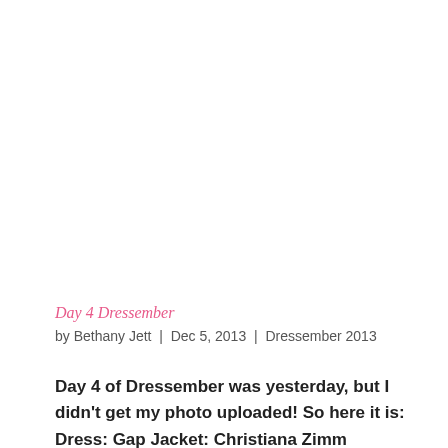[Figure (photo): White/blank image area at the top of the page, approximately 300px tall]
Day 4 Dressember
by Bethany Jett | Dec 5, 2013 | Dressember 2013
Day 4 of Dressember was yesterday, but I didn't get my photo uploaded! So here it is: Dress: Gap Jacket: Christiana Zimm Jewelry: Premier Designs Hair: style adapted from Kate